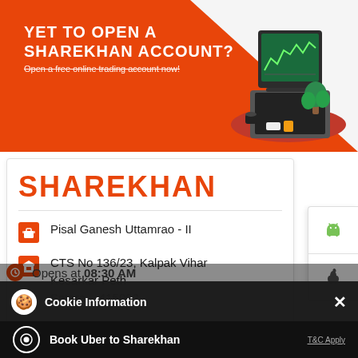[Figure (screenshot): Sharekhan orange banner with text 'YET TO OPEN A SHAREKHAN ACCOUNT?' and 'Open a free online trading account now!' with an illustration of a laptop on a red circular desk with a plant]
SHAREKHAN
Pisal Ganesh Uttamrao - II
CTS No 136/23, Kalpak Vihar
Kesarkar Peth
Satara - 415002
Opens at 08:30 AM
[Figure (screenshot): Cookie Information popup with close X button, dark background overlay with CALL and DIRECTIONS buttons visible underneath]
Cookie Information
On our website, we use services (including from third-party providers) that help us to improve our online presence (optimization of website) and to display content that is geared to their interests. We need your consent before being able to use these services.
Book Uber to Sharekhan
T&C Apply